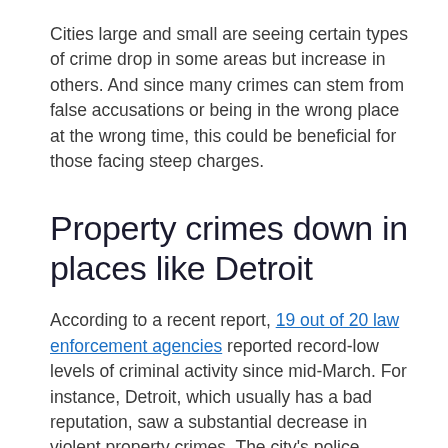Cities large and small are seeing certain types of crime drop in some areas but increase in others. And since many crimes can stem from false accusations or being in the wrong place at the wrong time, this could be beneficial for those facing steep charges.
Property crimes down in places like Detroit
According to a recent report, 19 out of 20 law enforcement agencies reported record-low levels of criminal activity since mid-March. For instance, Detroit, which usually has a bad reputation, saw a substantial decrease in violent property crimes. The city's police department says they typically see around 500 violent property crimes a month